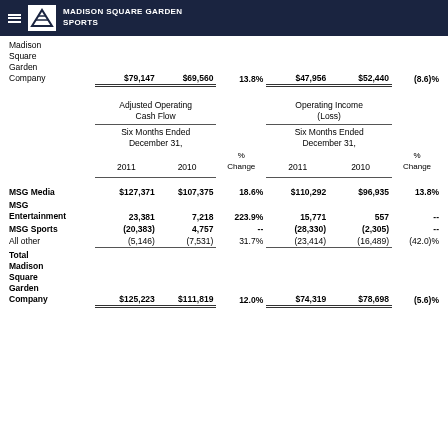MADISON SQUARE GARDEN SPORTS
|  | Adjusted Operating Cash Flow Six Months Ended December 31, 2011 | Adjusted Operating Cash Flow Six Months Ended December 31, 2010 | % Change | Operating Income (Loss) Six Months Ended December 31, 2011 | Operating Income (Loss) Six Months Ended December 31, 2010 | % Change |
| --- | --- | --- | --- | --- | --- | --- |
| Madison Square Garden Company | $79,147 | $69,560 | 13.8% | $47,956 | $52,440 | (8.6)% |
| MSG Media | $127,371 | $107,375 | 18.6% | $110,292 | $96,935 | 13.8% |
| MSG Entertainment | 23,381 | 7,218 | 223.9% | 15,771 | 557 | -- |
| MSG Sports | (20,383) | 4,757 | -- | (28,330) | (2,305) | -- |
| All other | (5,146) | (7,531) | 31.7% | (23,414) | (16,489) | (42.0)% |
| Total Madison Square Garden Company | $125,223 | $111,819 | 12.0% | $74,319 | $78,698 | (5.6)% |